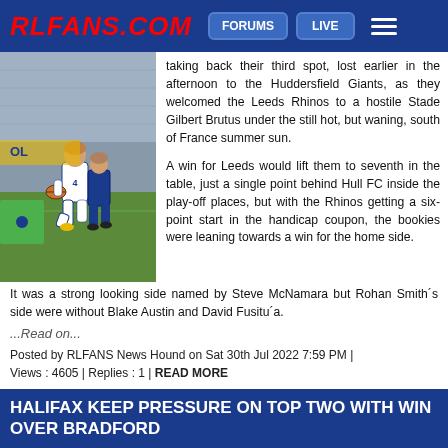RLFANS.COM | FORUMS | LIVE
taking back their third spot, lost earlier in the afternoon to the Huddersfield Giants, as they welcomed the Leeds Rhinos to a hostile Stade Gilbert Brutus under the still hot, but waning, south of France summer sun.

A win for Leeds would lift them to seventh in the table, just a single point behind Hull FC inside the play-off places, but with the Rhinos getting a six-point start in the handicap coupon, the bookies were leaning towards a win for the home side.
[Figure (photo): Rugby league action photo showing players in blue and white kit during a match.]
It was a strong looking side named by Steve McNamara but Rohan Smith´s side were without Blake Austin and David Fusitu´a.
...Read on...
Posted by RLFANS News Hound on Sat 30th Jul 2022 7:59 PM | Views : 4605 | Replies : 1 | READ MORE
HALIFAX KEEP PRESSURE ON TOP TWO WITH WIN OVER BRADFORD
[Figure (logo): Halifax Panthers logo in black and white]
It was a famous old name from the glory days of Super League's start taking on an